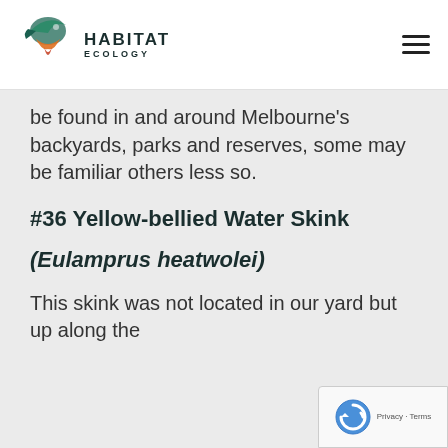Habitat Ecology
be found in and around Melbourne's backyards, parks and reserves, some may be familiar others less so.
#36 Yellow-bellied Water Skink
(Eulamprus heatwolei)
This skink was not located in our yard but up along the